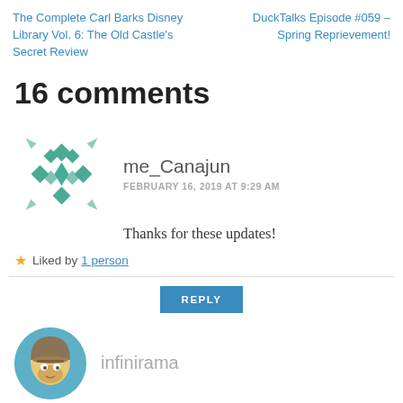The Complete Carl Barks Disney Library Vol. 6: The Old Castle's Secret Review
DuckTalks Episode #059 – Spring Reprievement!
16 comments
[Figure (logo): Decorative geometric snowflake avatar for user me_Canajun, teal/green colored]
me_Canajun
FEBRUARY 16, 2019 AT 9:29 AM
Thanks for these updates!
★ Liked by 1 person
REPLY
[Figure (illustration): Circular avatar for user infinirama, showing a cartoon character with a helmet]
infinirama